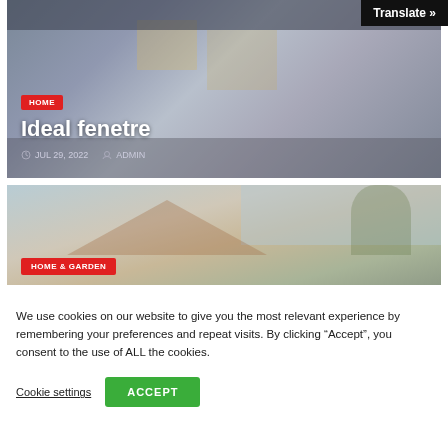[Figure (screenshot): Website header with 'Translate »' button in top-right black bar]
[Figure (photo): Modern house with dark garage and white/grey exterior under twilight sky, article card with HOME badge, title 'Ideal fenetre', date JUL 29 2022, author ADMIN]
Ideal fenetre
JUL 29, 2022   ADMIN
[Figure (photo): Rooftop with terracotta tiles and trees against sky, card with HOME & GARDEN badge]
We use cookies on our website to give you the most relevant experience by remembering your preferences and repeat visits. By clicking “Accept”, you consent to the use of ALL the cookies.
Cookie settings
ACCEPT